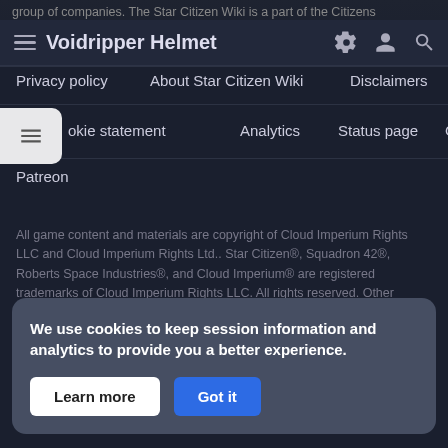Voidripper Helmet
Privacy policy
About Star Citizen Wiki
Disclaimers
Cookie statement
Analytics
Status page
GitHub
Patreon
All game content and materials are copyright of Cloud Imperium Rights LLC and Cloud Imperium Rights Ltd.. Star Citizen®, Squadron 42®, Roberts Space Industries®, and Cloud Imperium® are registered trademarks of Cloud Imperium Rights LLC. All rights reserved. Other content is available under Creative Commons Attribution-ShareAlike unless otherwise noted.
We use cookies to keep session information and analytics to provide you a better experience.
Learn more
Got it